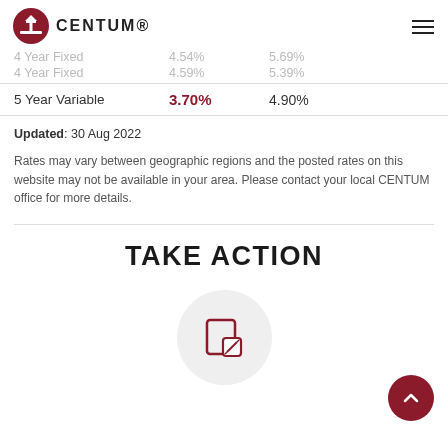CENTUM
|  | Rate | Posted Rate |
| --- | --- | --- |
| 4 Year Fixed | 4.54% | 5.69% |
| 4 Year Fixed | 4.59% | 5.39% |
| 5 Year Variable | 3.70% | 4.90% |
Updated: 30 Aug 2022
Rates may vary between geographic regions and the posted rates on this website may not be available in your area. Please contact your local CENTUM office for more details.
TAKE ACTION
[Figure (illustration): Edit/write icon inside a gray circle]